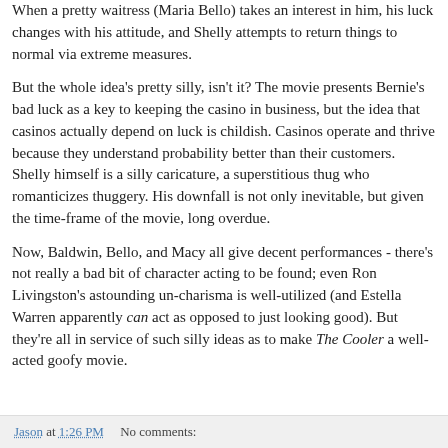When a pretty waitress (Maria Bello) takes an interest in him, his luck changes with his attitude, and Shelly attempts to return things to normal via extreme measures.
But the whole idea's pretty silly, isn't it? The movie presents Bernie's bad luck as a key to keeping the casino in business, but the idea that casinos actually depend on luck is childish. Casinos operate and thrive because they understand probability better than their customers. Shelly himself is a silly caricature, a superstitious thug who romanticizes thuggery. His downfall is not only inevitable, but given the time-frame of the movie, long overdue.
Now, Baldwin, Bello, and Macy all give decent performances - there's not really a bad bit of character acting to be found; even Ron Livingston's astounding un-charisma is well-utilized (and Estella Warren apparently can act as opposed to just looking good). But they're all in service of such silly ideas as to make The Cooler a well-acted goofy movie.
Jason at 1:26 PM   No comments: